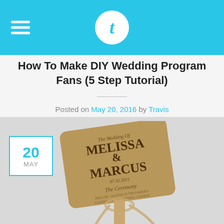t (logo)
How To Make DIY Wedding Program Fans (5 Step Tutorial)
Posted on May 20, 2016 by Travis
[Figure (photo): DIY wedding program fan made of kraft paper with text reading 'The Wedding of Melissa & Marcus, 07.32.2011, The Ceremony' with a ribbon tied at the bottom handle. A date badge showing '20 MAY' in a cyan-bordered white square overlays the top-left corner of the photo.]